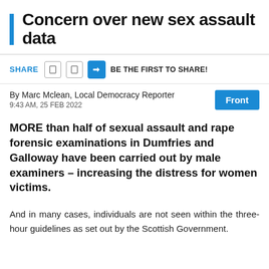Concern over new sex assault data
SHARE  BE THE FIRST TO SHARE!
By Marc Mclean, Local Democracy Reporter
9:43 AM, 25 FEB 2022
Front
MORE than half of sexual assault and rape forensic examinations in Dumfries and Galloway have been carried out by male examiners – increasing the distress for women victims.
And in many cases, individuals are not seen within the three-hour guidelines as set out by the Scottish Government.